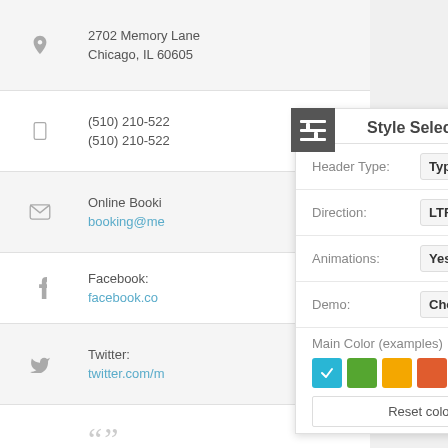2702 Memory Lane
Chicago, IL 60605
(510) 210-522
(510) 210-522
Online Booki
booking@me
Facebook:
facebook.co
Twitter:
twitter.com/m
[Figure (screenshot): Style Selector panel with Header Type (Type 1), Direction (LTR), Animations (Yes), Demo (Choose..) dropdowns, color swatches (blue, green, yellow, orange, teal, purple), and Reset color button]